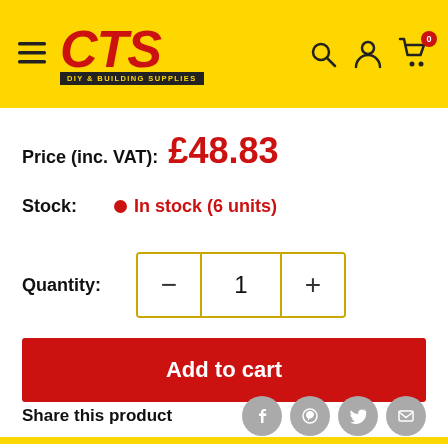[Figure (logo): CTS DIY & Building Supplies logo on yellow header bar with hamburger menu, search, account, and cart icons]
Price (inc. VAT): £48.83
Stock: In stock (6 units)
Quantity: 1
Add to cart
Share this product